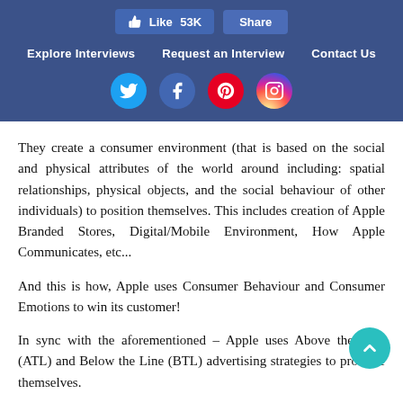Like 53K  Share  |  Explore Interviews  Request an Interview  Contact Us  | Twitter Facebook Pinterest Instagram
They create a consumer environment (that is based on the social and physical attributes of the world around including: spatial relationships, physical objects, and the social behaviour of other individuals) to position themselves. This includes creation of Apple Branded Stores, Digital/Mobile Environment, How Apple Communicates, etc...
And this is how, Apple uses Consumer Behaviour and Consumer Emotions to win its customer!
In sync with the aforementioned – Apple uses Above the Line (ATL) and Below the Line (BTL) advertising strategies to promote themselves.